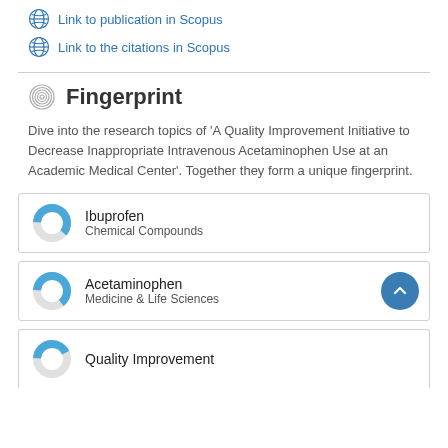Link to publication in Scopus
Link to the citations in Scopus
Fingerprint
Dive into the research topics of 'A Quality Improvement Initiative to Decrease Inappropriate Intravenous Acetaminophen Use at an Academic Medical Center'. Together they form a unique fingerprint.
Ibuprofen
Chemical Compounds
Acetaminophen
Medicine & Life Sciences
Quality Improvement